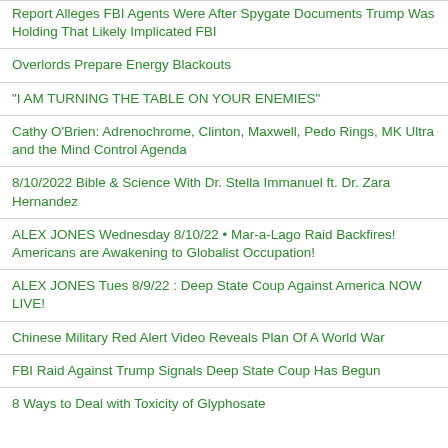Report Alleges FBI Agents Were After Spygate Documents Trump Was Holding That Likely Implicated FBI
Overlords Prepare Energy Blackouts
“I AM TURNING THE TABLE ON YOUR ENEMIES”
Cathy O’Brien: Adrenochrome, Clinton, Maxwell, Pedo Rings, MK Ultra and the Mind Control Agenda
8/10/2022 Bible & Science With Dr. Stella Immanuel ft. Dr. Zara Hernandez
ALEX JONES Wednesday 8/10/22 • Mar-a-Lago Raid Backfires! Americans are Awakening to Globalist Occupation!
ALEX JONES Tues 8/9/22 : Deep State Coup Against America NOW LIVE!
Chinese Military Red Alert Video Reveals Plan Of A World War
FBI Raid Against Trump Signals Deep State Coup Has Begun
8 Ways to Deal with Toxicity of Glyphosate